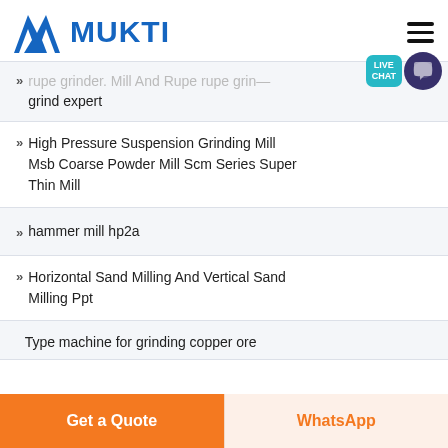[Figure (logo): Mukti company logo with blue M icon and blue MUKTI text]
…rupe grinder. Mill And Rupe rupe grind expert
High Pressure Suspension Grinding Mill Msb Coarse Powder Mill Scm Series Super Thin Mill
hammer mill hp2a
Horizontal Sand Milling And Vertical Sand Milling Ppt
Type machine for grinding copper ore
Get a Quote
WhatsApp